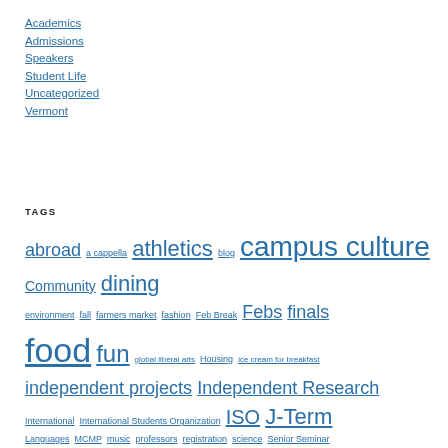Academics
Admissions
Speakers
Student Life
Uncategorized
Vermont
TAGS
abroad a cappella athletics blog campus culture Community dining environment fall farmers market fashion Feb Break Febs finals food fun global liberal arts Housing ice cream for breakfast independent projects Independent Research International International Students Organization ISO J-Term Languages MCMP music professors registration science Senior Seminar snow Snow Bowl speakers Student Life Student Organizations students